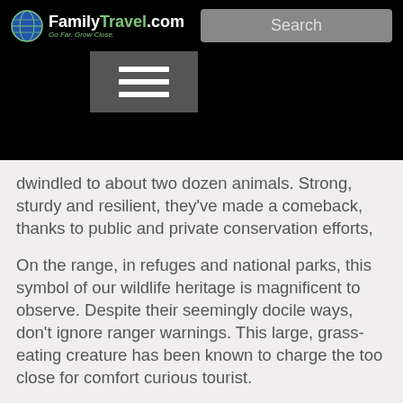FamilyTravel.com — Go Far. Grow Close. | Search | Menu
dwindled to about two dozen animals. Strong, sturdy and resilient, they've made a comeback, thanks to public and private conservation efforts,
On the range, in refuges and national parks, this symbol of our wildlife heritage is magnificent to observe. Despite their seemingly docile ways, don't ignore ranger warnings. This large, grass-eating creature has been known to charge the too close for comfort curious tourist.
Here are five places where you can snap a shot of this American icon – with a zoom lens:
1.	Wildlife Expeditions, an educational outreach program of Teton Science Schools, a nonprofit